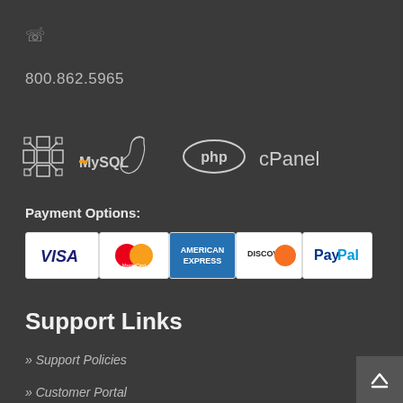[Figure (illustration): Phone/call icon in light gray]
800.862.5965
[Figure (logo): Technology logos: a snowflake/grid logo, MySQL, PHP, and cPanel logos in white/gray tones]
Payment Options:
[Figure (logo): Payment method logos: Visa, MasterCard, American Express, Discover, PayPal]
Support Links
» Support Policies
» Customer Portal
» Knowledge Base